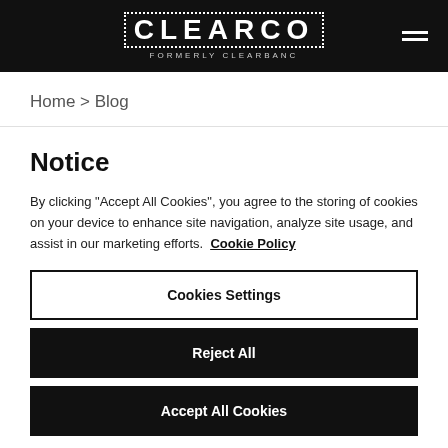CLEARCO FORMERLY CLEARBANC
Home > Blog
Notice
By clicking "Accept All Cookies", you agree to the storing of cookies on your device to enhance site navigation, analyze site usage, and assist in our marketing efforts. Cookie Policy
Cookies Settings
Reject All
Accept All Cookies